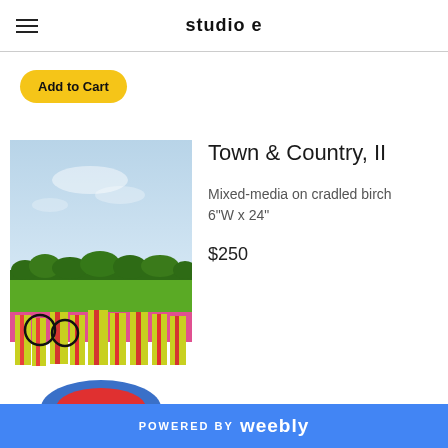studio e
[Figure (other): Add to Cart PayPal button (yellow rounded rectangle)]
[Figure (photo): Artwork photo showing 'Town & Country, II' - mixed-media painting on cradled birch with sky, green field/trees, and colorful abstract town elements in lower portion]
Town & Country, II
Mixed-media on cradled birch
6"W x 24"
$250
POWERED BY weebly